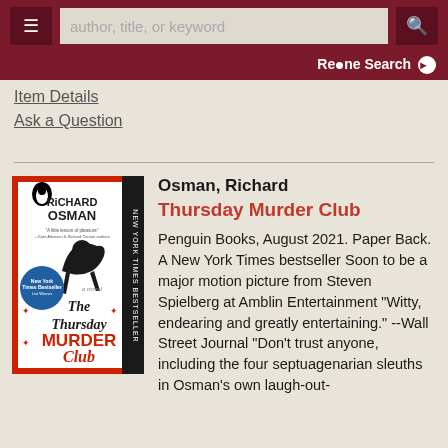author, title, or keyword [search bar] Re•ne Search
Item Details
Ask a Question
[Figure (illustration): Book cover of 'The Thursday Murder Club' by Richard Osman. Red border with black silhouette of a dog, Penguin Books logo, NY Times Bestseller badge.]
Osman, Richard
Thursday Murder Club
Penguin Books, August 2021. Paper Back. A New York Times bestseller Soon to be a major motion picture from Steven Spielberg at Amblin Entertainment "Witty, endearing and greatly entertaining." --Wall Street Journal "Don't trust anyone, including the four septuagenarian sleuths in Osman's own laugh-out-